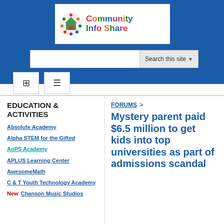[Figure (logo): Community Info Share logo with colorful circular icon and multicolor text]
[Figure (screenshot): Search bar with 'Search this site' button and dropdown arrow]
[Figure (screenshot): Navigation buttons: sidebar toggle and hamburger menu]
EDUCATION & ACTIVITIES
Absolute Academy
Alpha STEM for the Gifted
AoPS Academy
APLUS Learning Center
AwesomeMath
C & T Youth Technology Academy
New Chanson Music Studios
FORUMS >
Mystery parent paid $6.5 million to get kids into top universities as part of admissions scandal